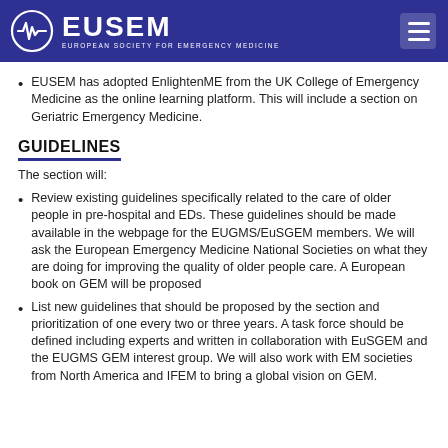EUSEM — European Society for Emergency Medicine
EUSEM has adopted EnlightenME from the UK College of Emergency Medicine as the online learning platform. This will include a section on Geriatric Emergency Medicine.
GUIDELINES
The section will:
Review existing guidelines specifically related to the care of older people in pre-hospital and EDs. These guidelines should be made available in the webpage for the EUGMS/EuSGEM members. We will ask the European Emergency Medicine National Societies on what they are doing for improving the quality of older people care. A European book on GEM will be proposed
List new guidelines that should be proposed by the section and prioritization of one every two or three years. A task force should be defined including experts and written in collaboration with EuSGEM and the EUGMS GEM interest group. We will also work with EM societies from North America and IFEM to bring a global vision on GEM.